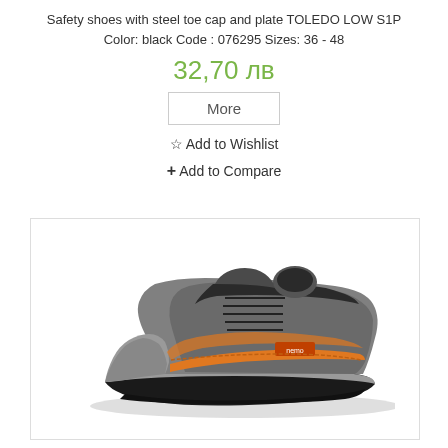Safety shoes with steel toe cap and plate TOLEDO LOW S1P
Color: black Code : 076295 Sizes: 36 - 48
32,70 лв
More
☆ Add to Wishlist
+ Add to Compare
[Figure (photo): Gray safety shoe with orange accents and black steel toe cap, lace-up style, TOLEDO LOW S1P model]